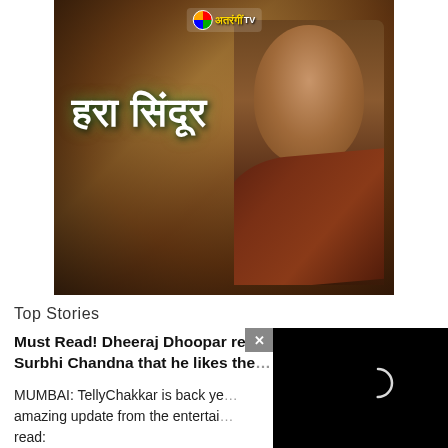[Figure (photo): TV show promotional poster for 'Hara Sindoor' on Atrangii TV. Shows a woman in traditional Indian attire with nose ring and forehead bindi against a dark brownish background, with Hindi title text in white/green stylized font and channel logo at top.]
Top Stories
Must Read! Dheeraj Dhoopar reve… Surbhi Chandna that he likes the…
MUMBAI: TellyChakkar is back ye… amazing update from the entertai… read:
[Figure (screenshot): Video player overlay with black background, red play button arrow on left side, and white circular loading/progress indicator in center. Close (x) button at top-left corner of overlay.]